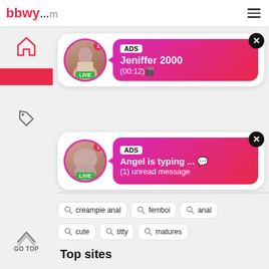bbwy...com
[Figure (screenshot): Ad card 1: LIVE avatar with notification dot, gradient bubble showing ADS label, Jeniffer 2000, (00:12)🎬, close button]
[Figure (screenshot): Ad card 2: LIVE avatar with notification dot, gradient bubble showing ADS label, Angel is typing ... 💬, (1) unread message, close button]
creampie anal
femboi
anal
cute
titty
matures
dildo walk
amirah adara
Top sites